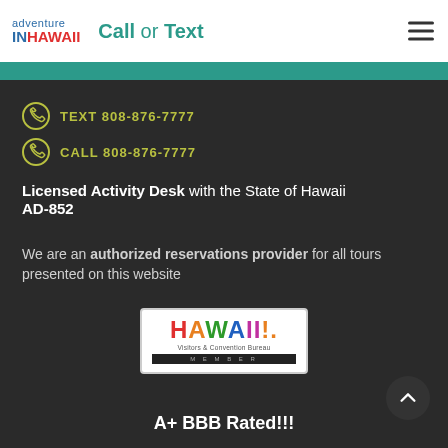adventure IN HAWAII — Call or Text
TEXT 808-876-7777
CALL 808-876-7777
Licensed Activity Desk with the State of Hawaii AD-852
We are an authorized reservations provider for all tours presented on this website
[Figure (logo): Hawaii Visitors & Convention Bureau Member badge]
A+ BBB Rated!!!